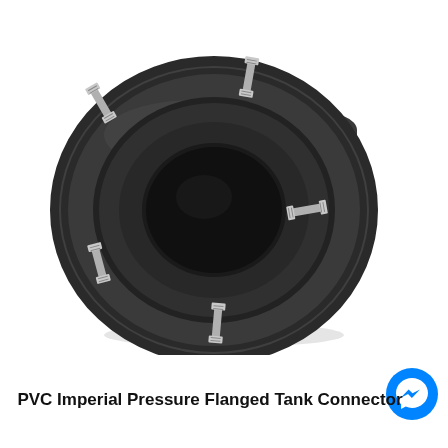[Figure (photo): A dark grey/black PVC Imperial Pressure Flanged Tank Connector fitting. The fitting features a large circular flange face with four stainless steel bolts/screws arranged around it, and a cylindrical spigot/socket protruding from the back right side. The flange has a central circular opening. The component is photographed on a white background in a three-quarter perspective view.]
PVC Imperial Pressure Flanged Tank Connector